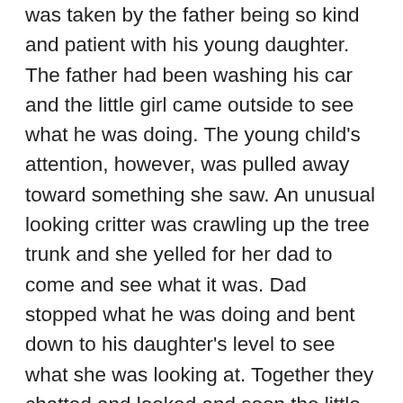was taken by the father being so kind and patient with his young daughter. The father had been washing his car and the little girl came outside to see what he was doing. The young child's attention, however, was pulled away toward something she saw. An unusual looking critter was crawling up the tree trunk and she yelled for her dad to come and see what it was. Dad stopped what he was doing and bent down to his daughter's level to see what she was looking at. Together they chatted and looked and soon the little girl was trying to pick up the new found critter, and dad, all of this time, allowed his daughter to do all the discovering on her own. It was short lived, yet the dad took the time to be present with his daughter for this very special di...